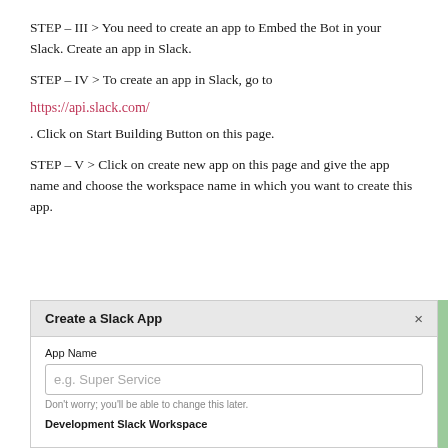STEP – III > You need to create an app to Embed the Bot in your Slack. Create an app in Slack.
STEP – IV > To create an app in Slack, go to
https://api.slack.com/
. Click on Start Building Button on this page.
STEP – V > Click on create new app on this page and give the app name and choose the workspace name in which you want to create this app.
[Figure (screenshot): Screenshot of 'Create a Slack App' dialog box with App Name input field showing placeholder 'e.g. Super Service', hint text 'Don't worry; you'll be able to change this later.', and Development Slack Workspace section header.]